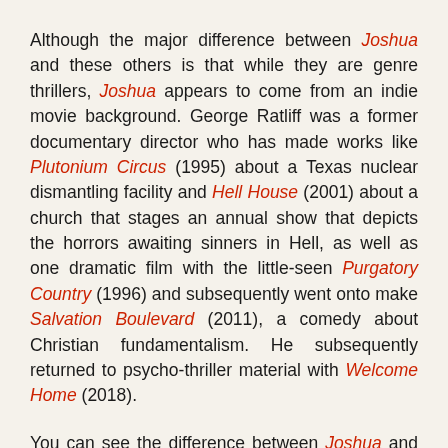Although the major difference between Joshua and these others is that while they are genre thrillers, Joshua appears to come from an indie movie background. George Ratliff was a former documentary director who has made works like Plutonium Circus (1995) about a Texas nuclear dismantling facility and Hell House (2001) about a church that stages an annual show that depicts the horrors awaiting sinners in Hell, as well as one dramatic film with the little-seen Purgatory Country (1996) and subsequently went onto make Salvation Boulevard (2011), a comedy about Christian fundamentalism. He subsequently returned to psycho-thriller material with Welcome Home (2018).
You can see the difference between Joshua and these other psycho child films in the approaches taken by the various directors – George Ratliff has almost no interest in repeating thriller movie set-ups and there are no canned pieces of thriller mise-en-